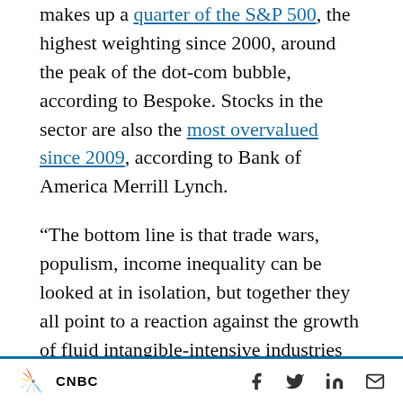makes up a quarter of the S&P 500, the highest weighting since 2000, around the peak of the dot-com bubble, according to Bespoke. Stocks in the sector are also the most overvalued since 2009, according to Bank of America Merrill Lynch.
“The bottom line is that trade wars, populism, income inequality can be looked at in isolation, but together they all point to a reaction against the growth of fluid intangible-intensive industries such as the data/platform companies,” Nomura’s Hafeez said. “While the direct fall-out of this
CNBC  [social icons: Facebook, Twitter, LinkedIn, Email]